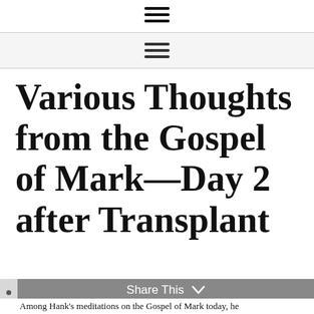≡
≡
Various Thoughts from the Gospel of Mark—Day 2 after Transplant
Share This
Among Hank's meditations on the Gospel of Mark today, he